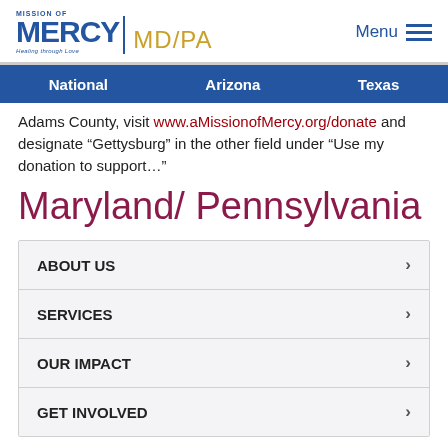MISSION OF MERCY MD/PA | Menu
National | Arizona | Texas
Adams County, visit www.aMissionofMercy.org/donate and designate “Gettysburg” in the other field under “Use my donation to support…”
Maryland/ Pennsylvania
ABOUT US
SERVICES
OUR IMPACT
GET INVOLVED